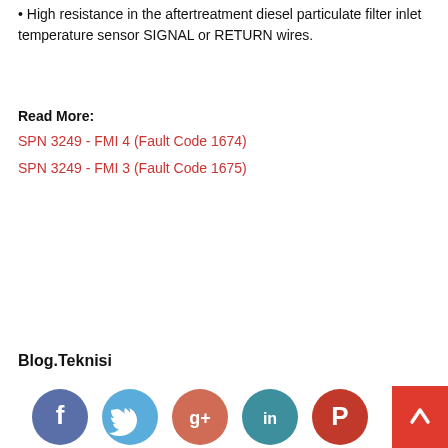High resistance in the aftertreatment diesel particulate filter inlet temperature sensor SIGNAL or RETURN wires.
Read More:
SPN 3249 - FMI 4 (Fault Code 1674)
SPN 3249 - FMI 3 (Fault Code 1675)
Blog.Teknisi
[Figure (infographic): Social media icons row: Facebook (dark blue circle with f), Twitter (light blue circle with bird), Google+ (orange-red circle with g+), LinkedIn (teal circle with in), Pinterest (red circle with P). Followed by a red scroll-to-top button with up arrow chevron.]